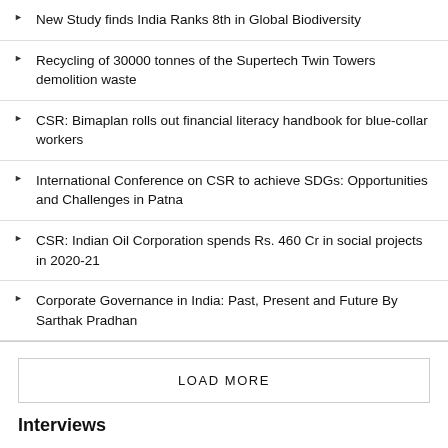New Study finds India Ranks 8th in Global Biodiversity
Recycling of 30000 tonnes of the Supertech Twin Towers demolition waste
CSR: Bimaplan rolls out financial literacy handbook for blue-collar workers
International Conference on CSR to achieve SDGs: Opportunities and Challenges in Patna
CSR: Indian Oil Corporation spends Rs. 460 Cr in social projects in 2020-21
Corporate Governance in India: Past, Present and Future By Sarthak Pradhan
LOAD MORE
Interviews